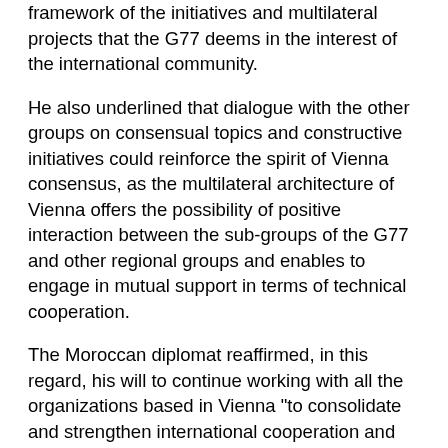framework of the initiatives and multilateral projects that the G77 deems in the interest of the international community.
He also underlined that dialogue with the other groups on consensual topics and constructive initiatives could reinforce the spirit of Vienna consensus, as the multilateral architecture of Vienna offers the possibility of positive interaction between the sub-groups of the G77 and other regional groups and enables to engage in mutual support in terms of technical cooperation.
The Moroccan diplomat reaffirmed, in this regard, his will to continue working with all the organizations based in Vienna "to consolidate and strengthen international cooperation and respond to the priorities of our Member States, in order to support their development efforts".
"I intend to engage in regular dialogue with all members of the Group and the Chief Executives of Vienna-based organizations to promote and implement the G77 priorities through a dynamic and collaborative approach, with the objective of strengthening a positive dialogue with the EU and other regional groups," he said.
Mr. Ent...